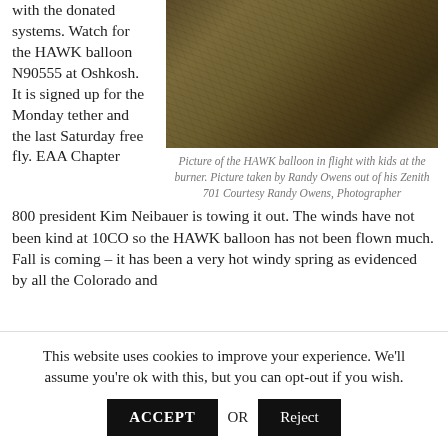with the donated systems. Watch for the HAWK balloon N90555 at Oshkosh. It is signed up for the Monday tether and the last Saturday free fly. EAA Chapter
[Figure (photo): Close-up photo of HAWK balloon fabric/envelope in flight, showing olive-brown woven texture.]
Picture of the HAWK balloon in flight with kids at the burner. Picture taken by Randy Owens out of his Zenith 701 Courtesy Randy Owens, Photographer
800 president Kim Neibauer is towing it out. The winds have not been kind at 10CO so the HAWK balloon has not been flown much. Fall is coming – it has been a very hot windy spring as evidenced by all the Colorado and
This website uses cookies to improve your experience. We'll assume you're ok with this, but you can opt-out if you wish.